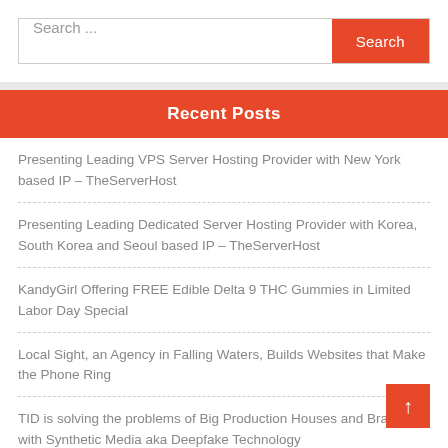[Figure (screenshot): Search bar with text input showing 'Search ...' placeholder and an orange 'Search' button]
Recent Posts
Presenting Leading VPS Server Hosting Provider with New York based IP – TheServerHost
Presenting Leading Dedicated Server Hosting Provider with Korea, South Korea and Seoul based IP – TheServerHost
KandyGirl Offering FREE Edible Delta 9 THC Gummies in Limited Labor Day Special
Local Sight, an Agency in Falling Waters, Builds Websites that Make the Phone Ring
TID is solving the problems of Big Production Houses and Brands with Synthetic Media aka Deepfake Technology